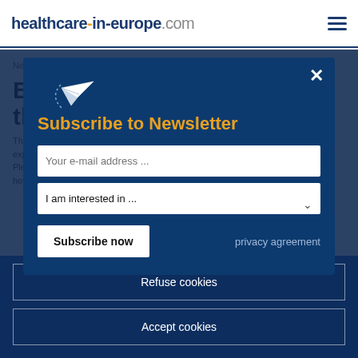healthcare-in-europe.com
News • Alte...
Breas... th...
This website ... experience. Please refer t... how you can e...
[Figure (screenshot): Newsletter subscription modal with paper plane icon, email input, interest dropdown, subscribe button, and privacy agreement link]
Refuse cookies
Accept cookies